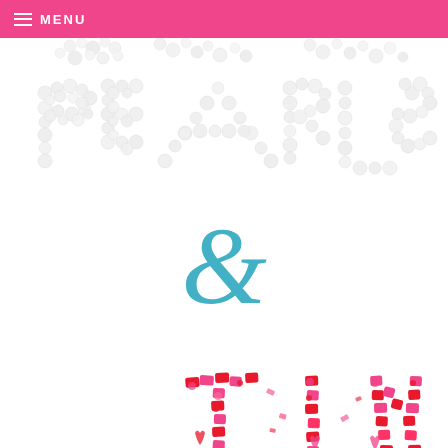MENU
[Figure (photo): Text spelled out with white pearl-like spheres reading 'PEARLS' (with partial top row showing more text above), an ampersand '&' in teal/cyan color, and the beginning of 'TINY' spelled out in red, pink, and white confetti/sprinkles shapes on a white background.]